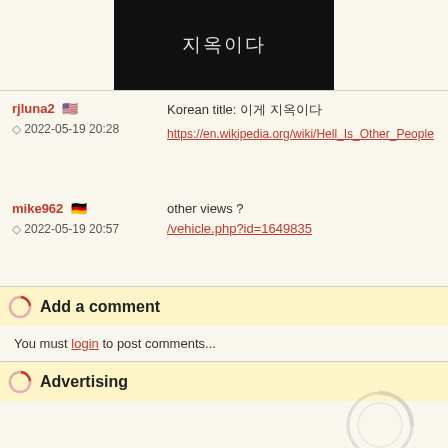[Figure (screenshot): Black background image with Korean text in light/white characters reading 지옥이다]
rjluna2 🇺🇸
◇ 2022-05-19 20:28
Korean title: 이게 지옥이다
https://en.wikipedia.org/wiki/Hell_Is_Other_People
mike962 🇩🇪
◇ 2022-05-19 20:57
other views ?
/vehicle.php?id=1649835
Add a comment
You must login to post comments...
Advertising